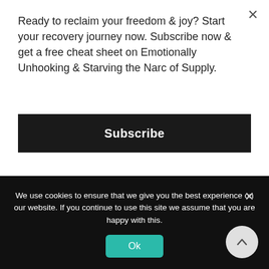Ready to reclaim your freedom & joy? Start your recovery journey now. Subscribe now & get a free cheat sheet on Emotionally Unhooking & Starving the Narc of Supply.
Subscribe
narcissist.
Reading these few words isn't going to convince you though, right?
I'm guessing that for you to be asking yourself this
We use cookies to ensure that we give you the best experience on our website. If you continue to use this site we assume that you are happy with this.
Ok